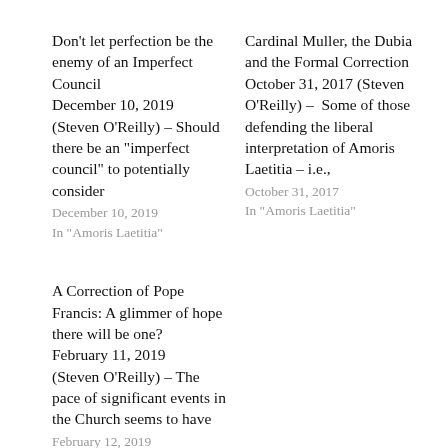Don't let perfection be the enemy of an Imperfect Council
December 10, 2019
(Steven O'Reilly) – Should there be an "imperfect council" to potentially consider
December 10, 2019
In "Amoris Laetitia"
Cardinal Muller, the Dubia and the Formal Correction
October 31, 2017 (Steven O'Reilly) –  Some of those defending the liberal interpretation of Amoris Laetitia – i.e.,
October 31, 2017
In "Amoris Laetitia"
A Correction of Pope Francis: A glimmer of hope there will be one?
February 11, 2019
(Steven O'Reilly) – The pace of significant events in the Church seems to have
February 12, 2019
In "Amoris Laetitia"